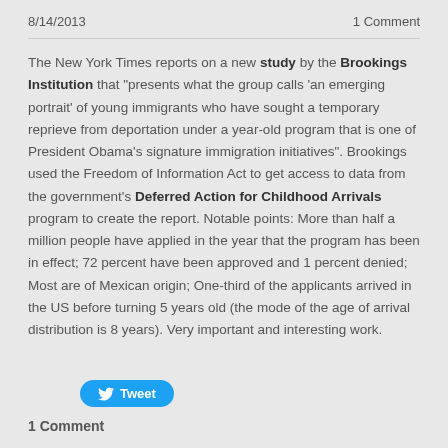8/14/2013    1 Comment
The New York Times reports on a new study by the Brookings Institution that "presents what the group calls 'an emerging portrait' of young immigrants who have sought a temporary reprieve from deportation under a year-old program that is one of President Obama's signature immigration initiatives". Brookings used the Freedom of Information Act to get access to data from the government's Deferred Action for Childhood Arrivals program to create the report. Notable points: More than half a million people have applied in the year that the program has been in effect; 72 percent have been approved and 1 percent denied; Most are of Mexican origin; One-third of the applicants arrived in the US before turning 5 years old (the mode of the age of arrival distribution is 8 years). Very important and interesting work.
[Figure (other): Tweet button]
1 Comment